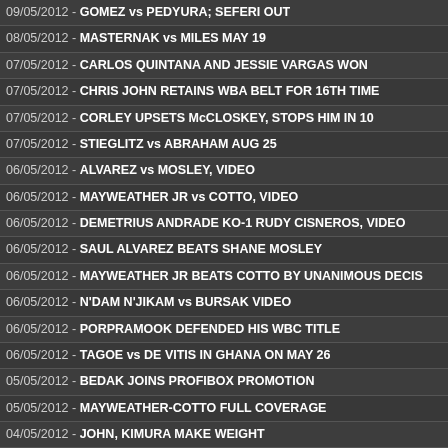09/05/2012 - GOMEZ vs PEDYURA; SEFERI OUT
08/05/2012 - MASTERNAK vs MILES MAY 19
07/05/2012 - CARLOS QUINTANA AND JESSIE VARGAS WON
07/05/2012 - CHRIS JOHN RETAINS WBA BELT FOR 16TH TIME
07/05/2012 - CORLEY UPSETS McCLOSKEY, STOPS HIM IN 10
07/05/2012 - STIEGLITZ vs ABRAHAM AUG 25
06/05/2012 - ALVAREZ vs MOSLEY, VIDEO
06/05/2012 - MAYWEATHER JR vs COTTO, VIDEO
06/05/2012 - DEMETRIUS ANDRADE KO-1 RUDY CISNEROS, VIDEO
06/05/2012 - SAUL ALVAREZ BEATS SHANE MOSLEY
06/05/2012 - MAYWEATHER JR BEATS COTTO BY UNANIMOUS DECIS
06/05/2012 - N'DAM N'JIKAM vs BURSAK VIDEO
06/05/2012 - PORPRAMOOK DEFENDED HIS WBC TITLE
06/05/2012 - TAGOE vs DE VITIS IN GHANA ON MAY 26
05/05/2012 - BEDAK JOINS PROFIBOX PROMOTION
05/05/2012 - MAYWEATHER-COTTO FULL COVERAGE
04/05/2012 - JOHN, KIMURA MAKE WEIGHT
04/05/2012 - WBF DOUBLEHEADER IN HUNGARY
04/05/2012 - DRAGON PUNCH vs HANAGATA SPECIAL
04/05/2012 - ALVAREZ AND MOSLEY FACE TO FACE
04/05/2012 - MAYWEATHER JR AND COTTO ARE CONFIDENT IN WINN
04/05/2012 - MAYWEATHER-COTTO, BOXING CHANNEL FULL COVER
03/05/2012 - BEN MURPHY: NOW I WANT THE BRITISH TITLE
02/05/2012 - MAYWEATHER-COTTO FULL COVERAGE
02/05/2012 - PERSSON'S EURO RESULTS AND NEWS
02/05/2012 - JHONNY GONZALEZ MIGHT FACE ORLANDO SALIDO